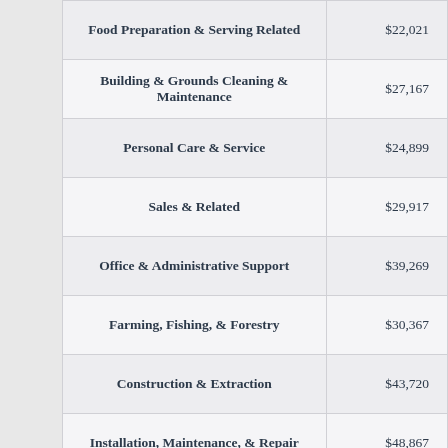| Occupation | Median Earnings |
| --- | --- |
| Food Preparation & Serving Related | $22,021 |
| Building & Grounds Cleaning & Maintenance | $27,167 |
| Personal Care & Service | $24,899 |
| Sales & Related | $29,917 |
| Office & Administrative Support | $39,269 |
| Farming, Fishing, & Forestry | $30,367 |
| Construction & Extraction | $43,720 |
| Installation, Maintenance, & Repair | $48,867 |
| Production | $37,707 |
| Transportation & Material Moving | $35,000 |